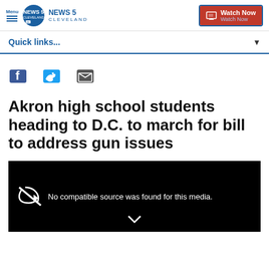Menu | NEWS 5 CLEVELAND | Watch Now
Quick links...
[Figure (other): Social sharing icons: Facebook, Twitter, Email]
Akron high school students heading to D.C. to march for bill to address gun issues
[Figure (screenshot): Video player showing: No compatible source was found for this media.]